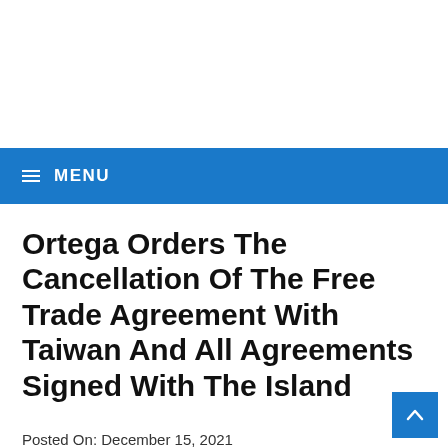≡ MENU
Ortega Orders The Cancellation Of The Free Trade Agreement With Taiwan And All Agreements Signed With The Island
Posted On: December 15, 2021
Posted By: Aygen Marsh   Posted In: World